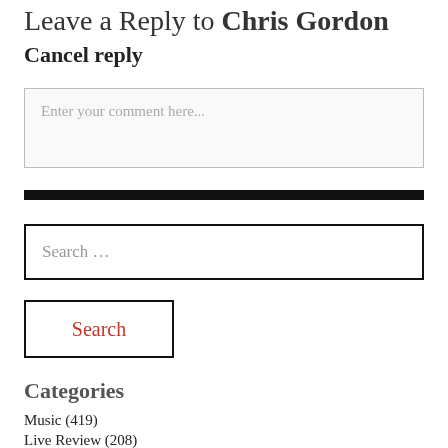Leave a Reply to Chris Gordon
Cancel reply
Enter your comment here...
[Figure (other): Black horizontal divider bar]
Search ...
Search
Categories
Music (419)
Live Review (208)